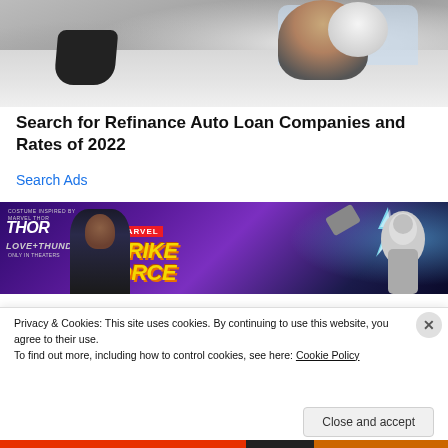[Figure (photo): Photo of a person in a white helmet near a white car, showing side mirror and car door area]
Search for Refinance Auto Loan Companies and Rates of 2022
Search Ads
[Figure (photo): Marvel Strike Force advertisement banner featuring characters Thor: Love and Thunder with lightning effects and game artwork]
Privacy & Cookies: This site uses cookies. By continuing to use this website, you agree to their use.
To find out more, including how to control cookies, see here: Cookie Policy
Close and accept